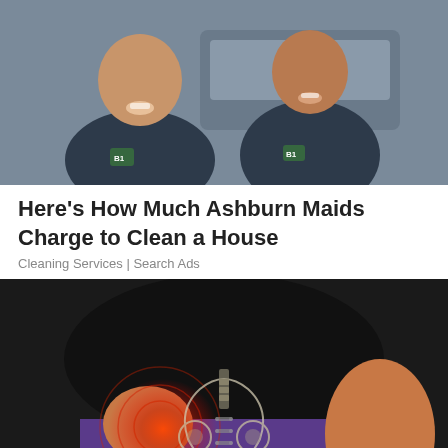[Figure (photo): Two women in dark navy polo shirts with a logo, smiling, standing in front of a car outdoors. Cleaning service workers.]
Here's How Much Ashburn Maids Charge to Clean a House
Cleaning Services | Search Ads
[Figure (photo): Person in black shirt and purple pants holding their hip/pelvis area with a stylized red pain indicator graphic overlaid, and an X-ray view of the pelvis/hip joint superimposed on the image.]